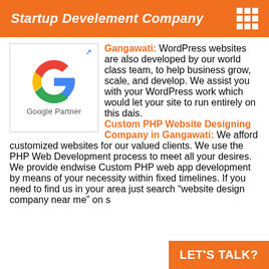Startup Develement Company
[Figure (logo): Google Partner badge with colorful G logo]
Gangawati: WordPress websites are also developed by our world class team, to help business grow, scale, and develop. We assist you with your WordPress work which would let your site to run entirely on this dais. Custom PHP Website Designing Company in Gangawati: We afford customized websites for our valued clients. We use the PHP Web Development process to meet all your desires. We provide endwise Custom PHP web app development by means of your necessity within fixed timelines. If you need to find us in your area just search "website design company near me" on s
LET'S TALK?